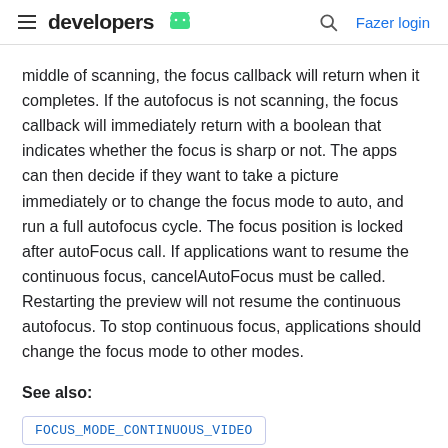developers [android logo] | Fazer login
middle of scanning, the focus callback will return when it completes. If the autofocus is not scanning, the focus callback will immediately return with a boolean that indicates whether the focus is sharp or not. The apps can then decide if they want to take a picture immediately or to change the focus mode to auto, and run a full autofocus cycle. The focus position is locked after autoFocus call. If applications want to resume the continuous focus, cancelAutoFocus must be called. Restarting the preview will not resume the continuous autofocus. To stop continuous focus, applications should change the focus mode to other modes.
See also:
FOCUS_MODE_CONTINUOUS_VIDEO
Constant Value: "continuous picture"